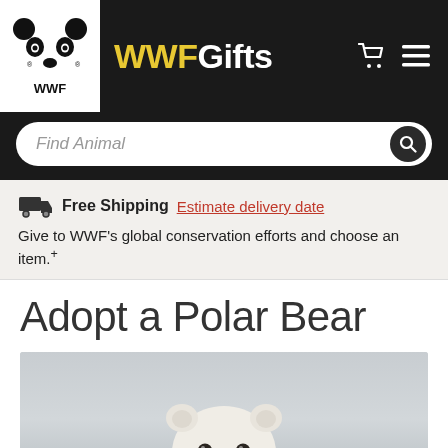[Figure (logo): WWF panda logo in white box on black header bar]
WWFGifts
Find Animal (search bar)
Free Shipping  Estimate delivery date
Give to WWF's global conservation efforts and choose an item.+
Adopt a Polar Bear
[Figure (photo): Polar bear facing the camera, light grey/white background, close-up portrait]